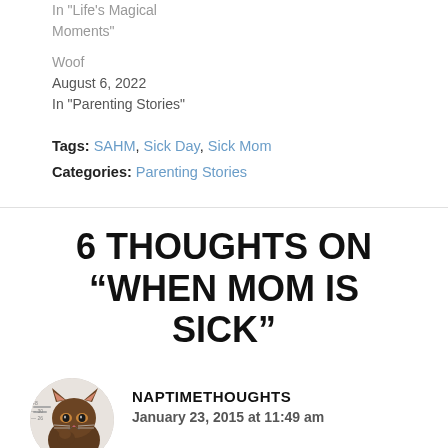In "Life's Magical Moments"
In "Parenting Stories"
Woof
August 6, 2022
In "Parenting Stories"
Tags: SAHM, Sick Day, Sick Mom
Categories: Parenting Stories
6 THOUGHTS ON “WHEN MOM IS SICK”
NAPTIMETHOUGHTS
January 23, 2015 at 11:49 am
[Figure (photo): Circular avatar photo of a fluffy cat sitting and looking at camera, on white background with some text/numbers visible on left edge]